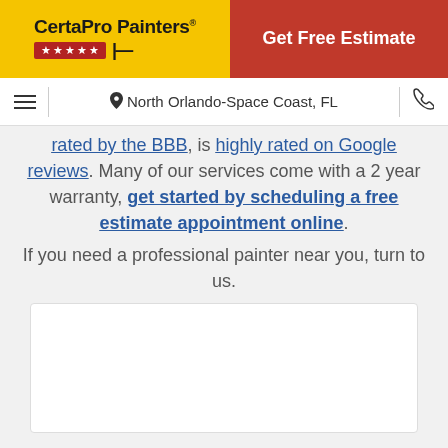[Figure (logo): CertaPro Painters logo on yellow background with red stars bar, alongside red Get Free Estimate button]
≡  North Orlando-Space Coast, FL  📞
rated by the BBB, is highly rated on Google reviews. Many of our services come with a 2 year warranty, get started by scheduling a free estimate appointment online.
If you need a professional painter near you, turn to us.
[Figure (map): Map placeholder showing white/blank area]